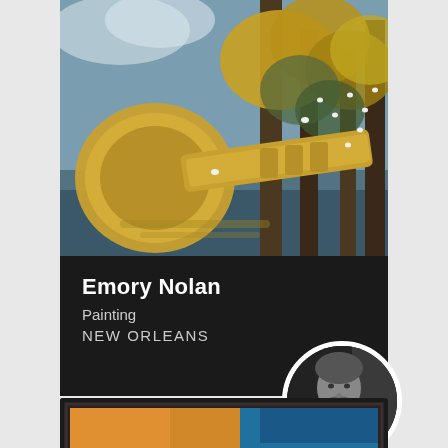[Figure (photo): A painting by Emory Nolan featuring a large golden/brass trumpet or horn instrument in a swampy bayou landscape with cypress trees, autumn foliage in gold and green, and white birds (egrets or herons) perched on branches. Moody atmospheric lighting with blues and greens in the background.]
Emory Nolan
Painting
NEW ORLEANS
[Figure (photo): A circular portrait photo of the artist Emory Nolan, a bearded man photographed in black and white.]
[Figure (photo): Partial view of a second painting at the bottom of the page, showing warm orange/amber tones with dark framing elements, appears to be another artwork by the artist.]